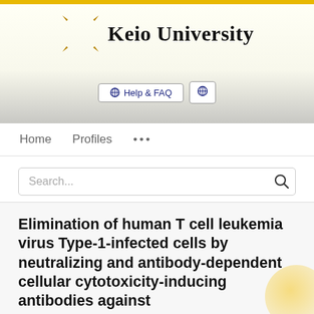Keio University
Help & FAQ
Home  Profiles  ...
Search...
Elimination of human T cell leukemia virus Type-1-infected cells by neutralizing and antibody-dependent cellular cytotoxicity-inducing antibodies against